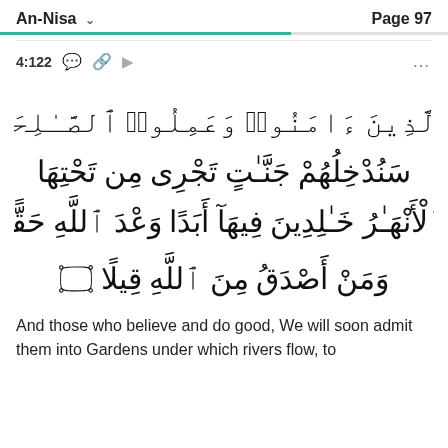An-Nisa   Page 97
4:122
[Figure (other): Arabic Quran verse 4:122 in large Arabic calligraphic script with verse number ornament ١٢٢]
And those who believe and do good, We will soon admit them into Gardens under which rivers flow, to